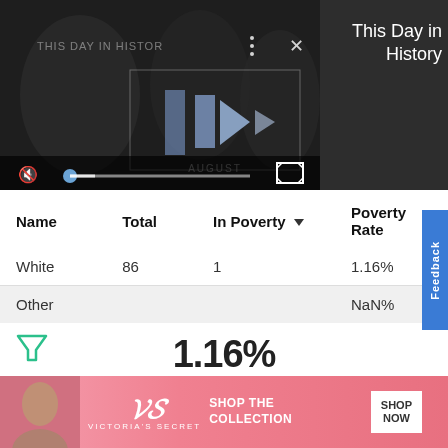[Figure (screenshot): Video player showing 'This Day in History' with playback controls, muted icon, progress bar, and fullscreen button. Dark background with logo/branding.]
This Day in History
| Name | Total | In Poverty ▼ | Poverty Rate |
| --- | --- | --- | --- |
| White | 86 | 1 | 1.16% |
| Other |  |  | NaN% |
1.16%
[Figure (screenshot): Advertisement banner for Victoria's Secret showing model, VS logo, 'SHOP THE COLLECTION' text, and 'SHOP NOW' button on pink background.]